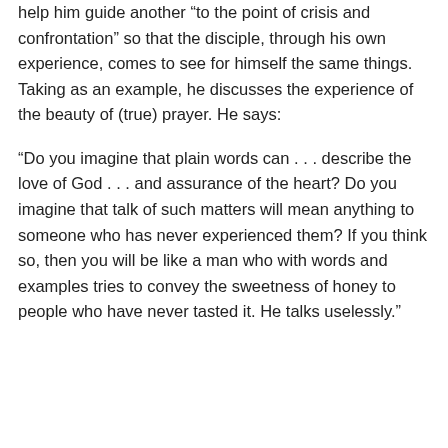help him guide another “to the point of crisis and confrontation” so that the disciple, through his own experience, comes to see for himself the same things. Taking as an example, he discusses the experience of the beauty of (true) prayer. He says:
“Do you imagine that plain words can . . . describe the love of God . . . and assurance of the heart? Do you imagine that talk of such matters will mean anything to someone who has never experienced them? If you think so, then you will be like a man who with words and examples tries to convey the sweetness of honey to people who have never tasted it. He talks uselessly.”